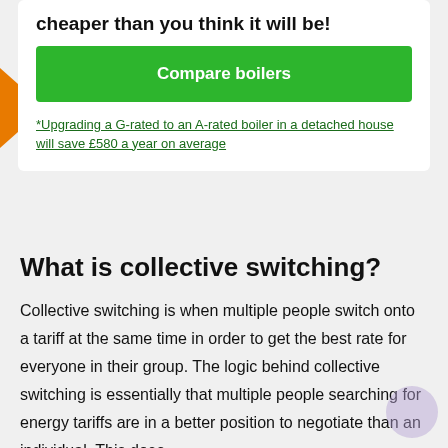cheaper than you think it will be!
[Figure (other): Green 'Compare boilers' call-to-action button]
*Upgrading a G-rated to an A-rated boiler in a detached house will save £580 a year on average
What is collective switching?
Collective switching is when multiple people switch onto a tariff at the same time in order to get the best rate for everyone in their group. The logic behind collective switching is essentially that multiple people searching for energy tariffs are in a better position to negotiate than an individual. This does